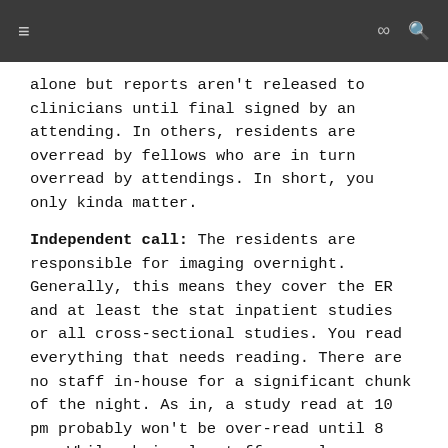≡  ∞  🔍
alone but reports aren't released to clinicians until final signed by an attending. In others, residents are overread by fellows who are in turn overread by attendings. In short, you only kinda matter.
Independent call: The residents are responsible for imaging overnight. Generally, this means they cover the ER and at least the stat inpatient studies or all cross-sectional studies. You read everything that needs reading. There are no staff in-house for a significant chunk of the night. As in, a study read at 10 pm probably won't be over-read until 8 am. While obviously staff are always available by phone, the expectation is that the residents practice radiology. Cultural milieu at the institution here is also important. If it's independent call but there is no buy-in and the ED demands that you page your attending